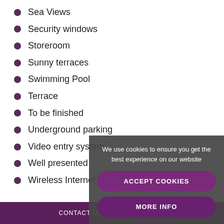Sea Views
Security windows
Storeroom
Sunny terraces
Swimming Pool
Terrace
To be finished
Underground parking
Video entry system
Well presented
Wireless Internet connection
We use cookies to ensure you get the best experience on our website
ACCEPT COOKIES
MORE INFO
CONTACT US · +44 1234 567 890